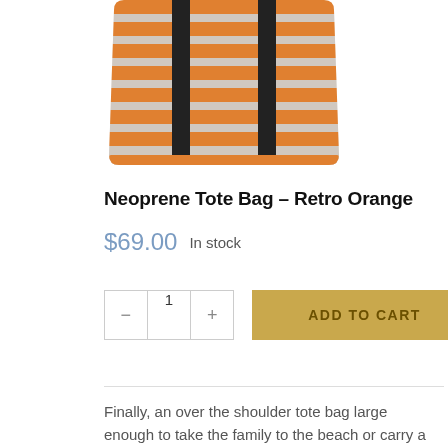[Figure (photo): Orange and grey horizontally striped neoprene tote bag with black vertical handles, shown from the front, cropped at the top of the image.]
Neoprene Tote Bag – Retro Orange
$69.00  In stock
ADD TO CART (quantity selector showing 1)
Finally, an over the shoulder tote bag large enough to take the family to the beach or carry a change of clothes,